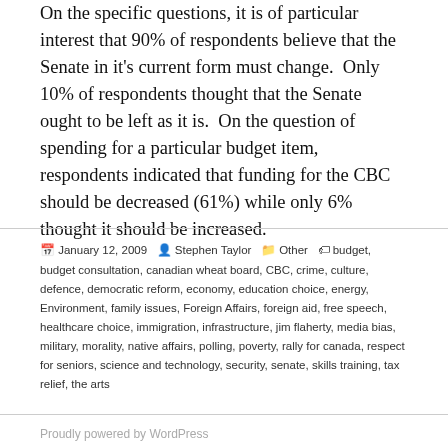On the specific questions, it is of particular interest that 90% of respondents believe that the Senate in it's current form must change. Only 10% of respondents thought that the Senate ought to be left as it is. On the question of spending for a particular budget item, respondents indicated that funding for the CBC should be decreased (61%) while only 6% thought it should be increased.
Posted January 12, 2009 By Stephen Taylor Categories Other Tags budget, budget consultation, canadian wheat board, CBC, crime, culture, defence, democratic reform, economy, education choice, energy, Environment, family issues, Foreign Affairs, foreign aid, free speech, healthcare choice, immigration, infrastructure, jim flaherty, media bias, military, morality, native affairs, polling, poverty, rally for canada, respect for seniors, science and technology, security, senate, skills training, tax relief, the arts
Proudly powered by WordPress